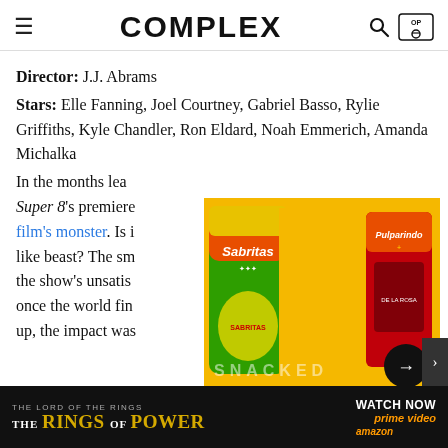COMPLEX
Director: J.J. Abrams
Stars: Elle Fanning, Joel Courtney, Gabriel Basso, Rylie Griffiths, Kyle Chandler, Ron Eldard, Noah Emmerich, Amanda Michalka
In the months leading up to Super 8's premiere, J.J. Abrams hid the film's monster. Is it a massive, alien-like beast? The smart marketing built the show's unsatisfying suspense, and once the world finally got to see it up, the impact was...
[Figure (screenshot): Video overlay showing Canelo Álvarez holding Sabritas and Pulparindo snacks on a yellow background with SNACKED branding and play arrow button]
Canelo Álvarez BreaksDownHisFavoriteSnacks | Snacked
[Figure (screenshot): Bottom banner advertisement for The Lord of the Rings: The Rings of Power on Prime Video with Watch Now call to action]